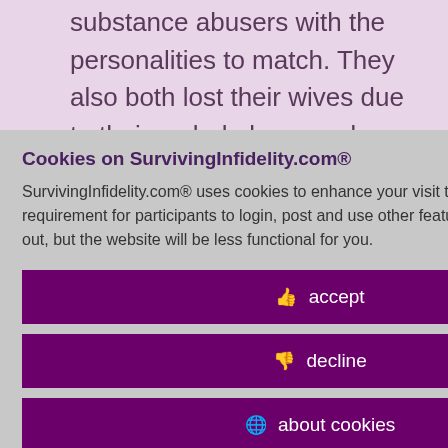substance abusers with the personalities to match. They also both lost their wives due to their verbal abuse and sexist attitudes, probably started by ... Father's stash ... innocent little ... ago! My late ... ore him 3 ... SAHM, told ... tried to play ... gain, the porn ... he died at age ... breast, very ... ve migrated ... told me she got ... up on after her ... ossible cause
Cookies on SurvivingInfidelity.com®
SurvivingInfidelity.com® uses cookies to enhance your visit to our website. This is a requirement for participants to login, post and use other features. Visitors may opt out, but the website will be less functional for you.
accept
decline
about cookies
Policy